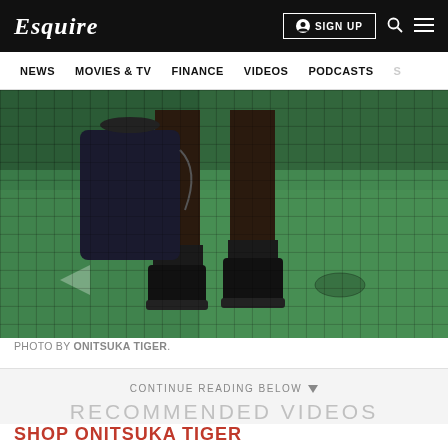Esquire — SIGN UP — NEWS  MOVIES & TV  FINANCE  VIDEOS  PODCASTS
[Figure (photo): Close-up photo of a person's legs wearing black boots and socks, standing on green tiled pavement, carrying a dark bag. Photo by Onitsuka Tiger.]
PHOTO BY ONITSUKA TIGER.
CONTINUE READING BELOW
RECOMMENDED VIDEOS
SHOP ONITSUKA TIGER